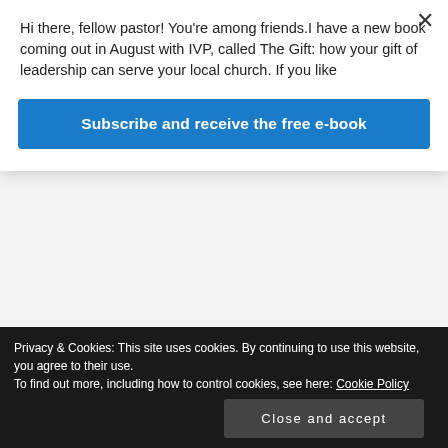Hi there, fellow pastor! You’re among friends.I have a new book coming out in August with IVP, called The Gift: how your gift of leadership can serve your local church. If you like
Subscribe and receive the free e-book
[Figure (photo): Partial book covers row - gray book, black book, orange book (tops only)]
[Figure (photo): Book cover: When God’s Voice is Heard - The Power of preaching]
[Figure (photo): Book cover: A Higher Throne - Essays on church and public policy]
[Figure (photo): Book cover: God’s Power to Save]
Privacy & Cookies: This site uses cookies. By continuing to use this website, you agree to their use.
To find out more, including how to control cookies, see here: Cookie Policy
Close and accept